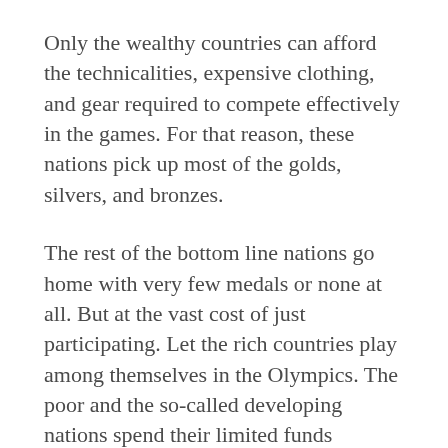Only the wealthy countries can afford the technicalities, expensive clothing, and gear required to compete effectively in the games. For that reason, these nations pick up most of the golds, silvers, and bronzes.
The rest of the bottom line nations go home with very few medals or none at all. But at the vast cost of just participating. Let the rich countries play among themselves in the Olympics. The poor and the so-called developing nations spend their limited funds building more and better sports facilities for the vast majority of their youth population.
If the Corona pandemic causes the cancelling of the Tokyo Olympics, that may signal the end of future Olympics. If that happens, a tradition may end, but it would save billions for better sporting alternatives